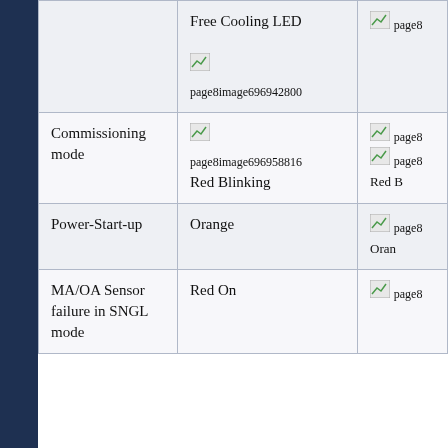| Mode/State | LED Indicator (Status LED) | LED Indicator (another column) |
| --- | --- | --- |
| [partial - top cut off] Free Cooling LED | page8image696942800 | page8image... Veri... |
| Commissioning mode | page8image696958816 Red Blinking | page8... Red B... |
| Power-Start-up | Orange | page8... Orange |
| MA/OA Sensor failure in SNGL mode | Red On | page8... |